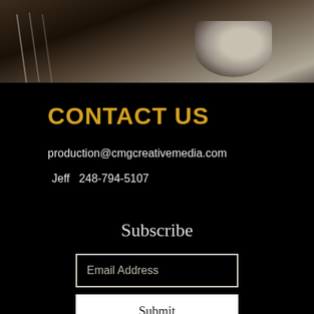[Figure (photo): Dark abstract photo of guitar strings and microphone or musical instrument close-up, dark brown and gray tones]
CONTACT US
production@cmgcreativemedia.com
Jeff  248-794-5107
Subscribe
Email Address
Submit